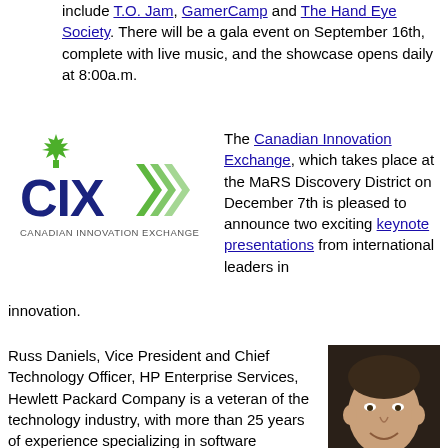include T.O. Jam, GamerCamp and The Hand Eye Society. There will be a gala event on September 16th, complete with live music, and the showcase opens daily at 8:00a.m.
[Figure (logo): Canadian Innovation Exchange (CIX) logo — dark blue and green chevron design with 'CIX' text and full name below]
The Canadian Innovation Exchange, which takes place at the MaRS Discovery District on December 7th is pleased to announce two exciting keynote presentations from international leaders in innovation.
[Figure (photo): Headshot of Russ Daniels, a middle-aged man with short dark hair, smiling, against a dark background]
Russ Daniels, Vice President and Chief Technology Officer, HP Enterprise Services, Hewlett Packard Company is a veteran of the technology industry, with more than 25 years of experience specializing in software architecture, enterprise management, and software development methodologies. As Vice President and Chief Technology Officer for HP Enterprise Services, he sets the technology strategy and architecture for HP's Enterprise Services portfolio.
[Figure (photo): Headshot of Doug Merritt, a middle-aged man with short light brown hair, smiling, wearing a light colored shirt]
Doug Merritt, Executive Vice President, SAP OnDemand Solutions, is responsible for all sales and Go-To-Market (GTM) activities related to the entire range of SAP's cloud offerings.
Just a reminder also, that Early Bird ticket prices for CIX end on October 1st, which is also the last day of submissions for Canada's Hottest